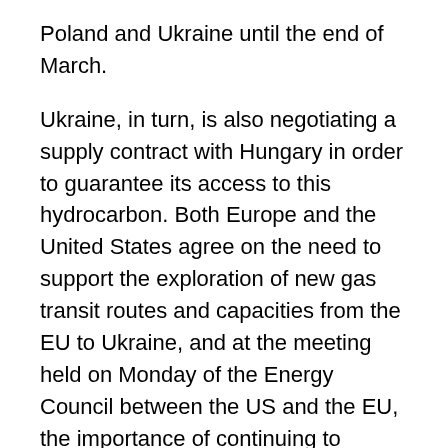Poland and Ukraine until the end of March.
Ukraine, in turn, is also negotiating a supply contract with Hungary in order to guarantee its access to this hydrocarbon. Both Europe and the United States agree on the need to support the exploration of new gas transit routes and capacities from the EU to Ukraine, and at the meeting held on Monday of the Energy Council between the US and the EU, the importance of continuing to support the process of synchronizing the power grids of Ukraine and the Republic of Moldova with the continental European grid.
The Commissioner for Energy, Kadri Simson, met yesterday with Senators Bill Cassidy, Kevin